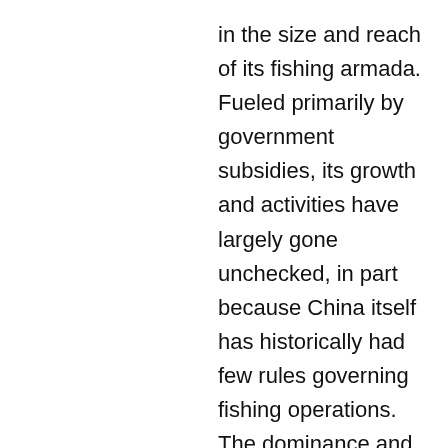in the size and reach of its fishing armada. Fueled primarily by government subsidies, its growth and activities have largely gone unchecked, in part because China itself has historically had few rules governing fishing operations. The dominance and global ubiquity of this fleet raise broader questions about how China has put so many boats on the water, and what it means for the world's oceans.